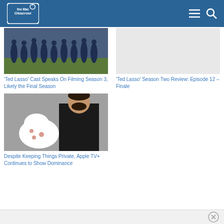The Mac Observer
[Figure (photo): Soccer/football players doing a team exercise outdoors on a field, wearing dark blue tracksuits]
'Ted Lasso' Cast Speaks On Filming Season 3, Likely the Final Season
'Ted Lasso' Season Two Review: Episode 12 – Finale
[Figure (photo): Man in black jacket leaning toward a dog or animal wrapped in white bandages]
Despite Keeping Things Private, Apple TV+ Continues to Show Dominance